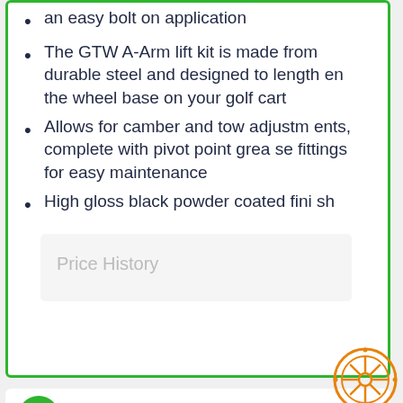an easy bolt on application
The GTW A-Arm lift kit is made from durable steel and designed to lengthen the wheel base on your golf cart
Allows for camber and tow adjustments, complete with pivot point grease fittings for easy maintenance
High gloss black powder coated finish
Price History
[Figure (logo): Orange wheel/tire icon overlay at bottom right of top card]
[Figure (illustration): Green circle icon at bottom left of second card]
Madjax 6" 2004-14 A-Arm Lift